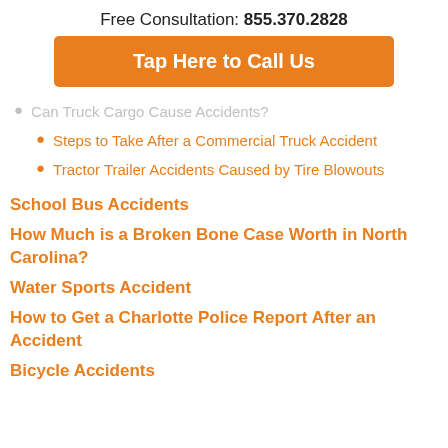Free Consultation: 855.370.2828
Tap Here to Call Us
Can Truck Cargo Cause Accidents?
Steps to Take After a Commercial Truck Accident
Tractor Trailer Accidents Caused by Tire Blowouts
School Bus Accidents
How Much is a Broken Bone Case Worth in North Carolina?
Water Sports Accident
How to Get a Charlotte Police Report After an Accident
Bicycle Accidents